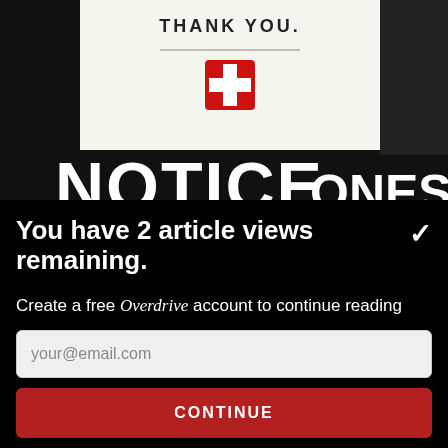[Figure (photo): Photograph of a notice sign showing 'THANK YOU.' text, a red cross pharmacy logo, and large bold text reading 'NOTICE' with partial text 'ONES' visible, dark background]
You have 2 article views remaining.
Create a free Overdrive account to continue reading
your@email.com
CONTINUE